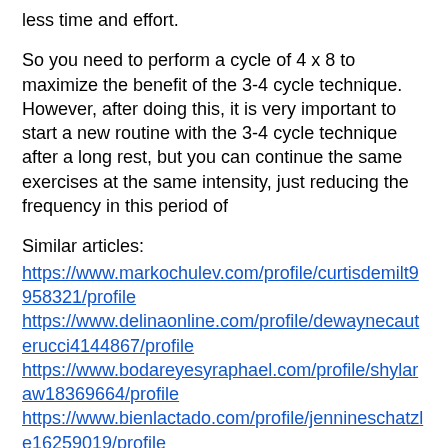less time and effort.
So you need to perform a cycle of 4 x 8 to maximize the benefit of the 3-4 cycle technique. However, after doing this, it is very important to start a new routine with the 3-4 cycle technique after a long rest, but you can continue the same exercises at the same intensity, just reducing the frequency in this period of
Similar articles:
https://www.markochulev.com/profile/curtisdemilt9958321/profile https://www.delinaonline.com/profile/dewaynecauterucci4144867/profile https://www.bodareyesyraphael.com/profile/shylaraw18369664/profile https://www.bienlactado.com/profile/jennineschatzle16259019/profile